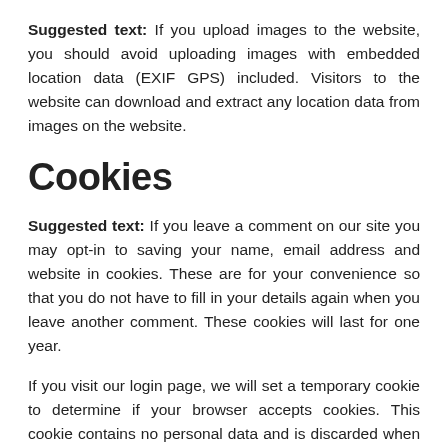Suggested text: If you upload images to the website, you should avoid uploading images with embedded location data (EXIF GPS) included. Visitors to the website can download and extract any location data from images on the website.
Cookies
Suggested text: If you leave a comment on our site you may opt-in to saving your name, email address and website in cookies. These are for your convenience so that you do not have to fill in your details again when you leave another comment. These cookies will last for one year.
If you visit our login page, we will set a temporary cookie to determine if your browser accepts cookies. This cookie contains no personal data and is discarded when you close your browser.